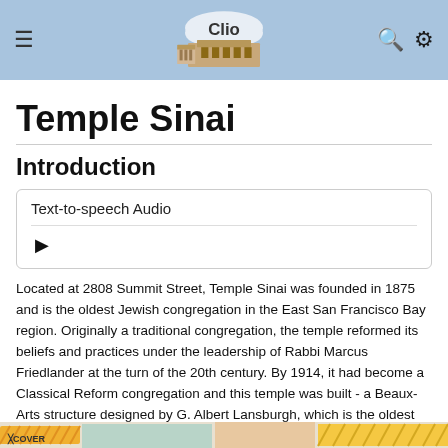Clio app header with hamburger menu, Clio logo, search and settings icons
Temple Sinai
Introduction
Text-to-speech Audio
Located at 2808 Summit Street, Temple Sinai was founded in 1875 and is the oldest Jewish congregation in the East San Francisco Bay region. Originally a traditional congregation, the temple reformed its beliefs and practices under the leadership of Rabbi Marcus Friedlander at the turn of the 20th century. By 1914, it had become a Classical Reform congregation and this temple was built - a Beaux-Arts structure designed by G. Albert Lansburgh, which is the oldest synagogue building in Oakland.
[Figure (photo): Partial bottom strip showing colorful illustrated map or graphic, partially cut off at page bottom]